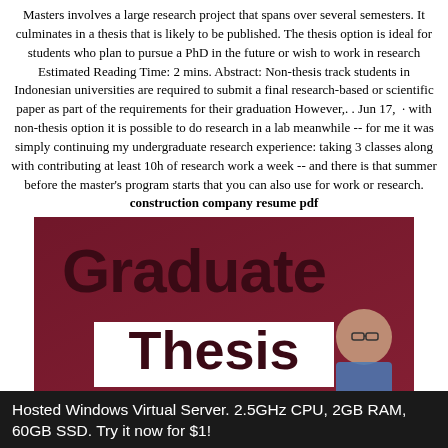Masters involves a large research project that spans over several semesters. It culminates in a thesis that is likely to be published. The thesis option is ideal for students who plan to pursue a PhD in the future or wish to work in research Estimated Reading Time: 2 mins. Abstract: Non-thesis track students in Indonesian universities are required to submit a final research-based or scientific paper as part of the requirements for their graduation However,. . Jun 17,  · with non-thesis option it is possible to do research in a lab meanwhile -- for me it was simply continuing my undergraduate research experience: taking 3 classes along with contributing at least 10h of research work a week -- and there is that summer before the master's program starts that you can also use for work or research. construction company resume pdf
[Figure (photo): Banner image with dark red/maroon background showing the text 'Graduate Thesis' in large bold letters with a person wearing glasses visible on the right side]
Hosted Windows Virtual Server. 2.5GHz CPU, 2GB RAM, 60GB SSD. Try it now for $1!